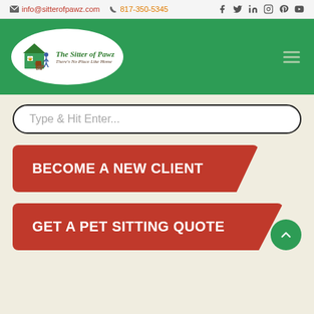info@sitterofpawz.com  817-350-5345
[Figure (logo): The Sitter of Pawz logo — oval white background with green house icon, person walking dog, text 'The Sitter of Pawz' and tagline 'There's No Place Like Home']
Type & Hit Enter...
BECOME A NEW CLIENT
GET A PET SITTING QUOTE